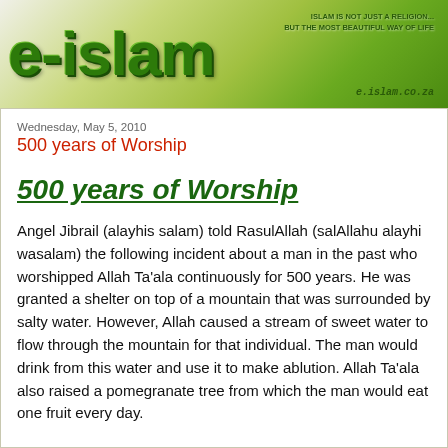[Figure (logo): E-Islam website banner with green gradient background, large green 3D logo text 'e-islam', tagline 'ISLAM IS NOT JUST A RELIGION... BUT THE MOST BEAUTIFUL WAY OF LIFE', and URL 'e.islam.co.za']
Wednesday, May 5, 2010
500 years of Worship
500 years of Worship
Angel Jibrail (alayhis salam) told RasulAllah (salAllahu alayhi wasalam) the following incident about a man in the past who worshipped Allah Ta'ala continuously for 500 years. He was granted a shelter on top of a mountain that was surrounded by salty water. However, Allah caused a stream of sweet water to flow through the mountain for that individual. The man would drink from this water and use it to make ablution. Allah Ta'ala also raised a pomegranate tree from which the man would eat one fruit every day.